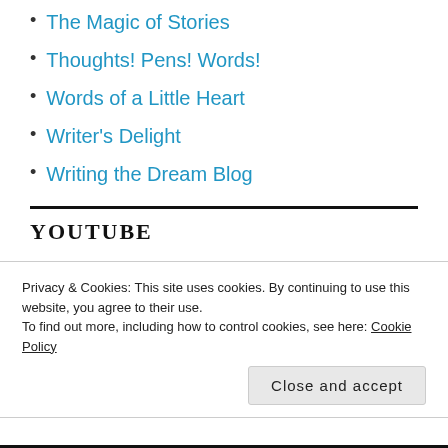The Magic of Stories
Thoughts! Pens! Words!
Words of a Little Heart
Writer's Delight
Writing the Dream Blog
YOUTUBE
Cocos Island Treasure Book Trailer Book trailer for
Privacy & Cookies: This site uses cookies. By continuing to use this website, you agree to their use.
To find out more, including how to control cookies, see here: Cookie Policy
Close and accept